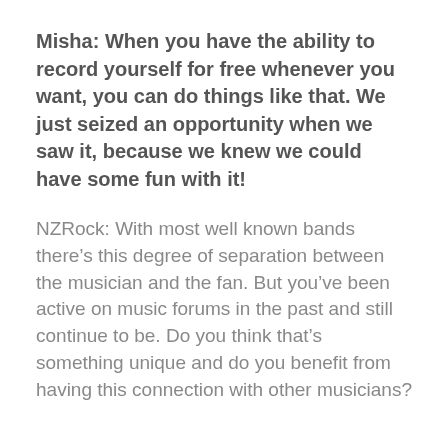Misha: When you have the ability to record yourself for free whenever you want, you can do things like that. We just seized an opportunity when we saw it, because we knew we could have some fun with it!
NZRock: With most well known bands there’s this degree of separation between the musician and the fan. But you’ve been active on music forums in the past and still continue to be. Do you think that’s something unique and do you benefit from having this connection with other musicians?